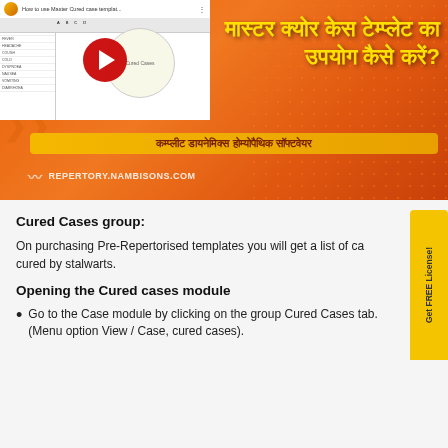[Figure (screenshot): YouTube video thumbnail showing 'How to use Master Cured case templat...' with a spreadsheet visible and a red play button overlay on an orange gradient background with Hindi text]
Cured Cases group:
On purchasing Pre-Repertorised templates you will get a list of cases cured by stalwarts.
Opening the Cured cases module
Go to the Case module by clicking on the group Cured Cases tab. (Menu option View / Case, cured cases).